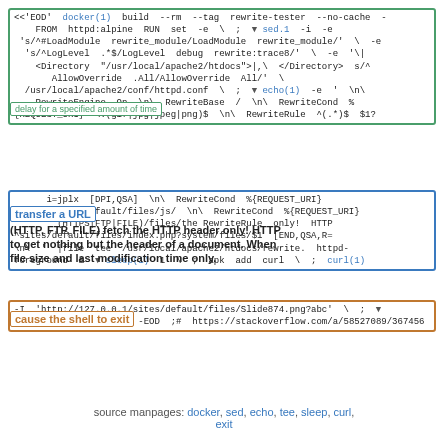[Figure (screenshot): Code block with colored annotation boxes and tooltip overlays showing docker build commands with sed, echo, sleep, curl usage and overlaid explanatory text about HTTP HEAD, shell exit, URL transfer, and file size/modification time.]
source manpages: docker, sed, echo, tee, sleep, curl, exit